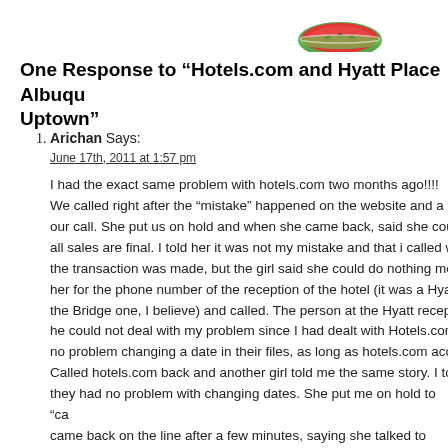[Figure (illustration): Watermelon slice emoji/icon in top center area]
One Response to “Hotels.com and Hyatt Place Albuquerque Uptown”
Arichan Says:
June 17th, 2011 at 1:57 pm

I had the exact same problem with hotels.com two months ago!!!! We called right after the “mistake” happened on the website and a w... our call. She put us on hold and when she came back, said she cou... all sales are final. I told her it was not my mistake and that i called w... the transaction was made, but the girl said she could do nothing mo... her for the phone number of the reception of the hotel (it was a Hya... the Bridge one, I believe) and called. The person at the Hyatt recep... he could not deal with my problem since I had dealt with Hotels.com... no problem changing a date in their files, as long as hotels.com acc... Called hotels.com back and another girl told me the same story. I to... they had no problem with changing dates. She put me on hold to “ca... came back on the line after a few minutes, saying she talked to them... not accept refund for a deposit. I told her i had only paid the deposit...